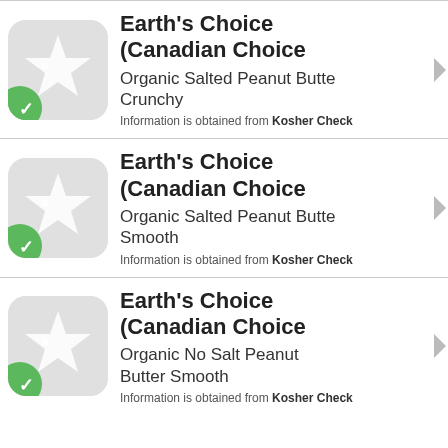Earth's Choice (Canadian Choice — Organic Salted Peanut Butter Crunchy. Information is obtained from Kosher Check
Earth's Choice (Canadian Choice — Organic Salted Peanut Butter Smooth. Information is obtained from Kosher Check
Earth's Choice (Canadian Choice — Organic No Salt Peanut Butter Smooth. Information is obtained from Kosher Check